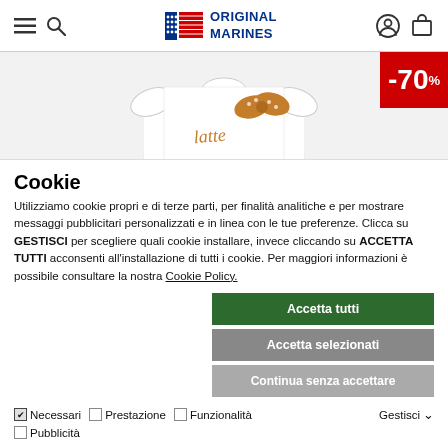Original Marines website header with hamburger menu, search, logo, user and cart icons
[Figure (screenshot): Partial product image of a white children's shirt with a floral bow, with a red -70% sale badge in the top right corner]
Cookie
Utilizziamo cookie propri e di terze parti, per finalità analitiche e per mostrare messaggi pubblicitari personalizzati e in linea con le tue preferenze. Clicca su GESTISCI per scegliere quali cookie installare, invece cliccando su ACCETTA TUTTI acconsenti all'installazione di tutti i cookie. Per maggiori informazioni è possibile consultare la nostra Cookie Policy.
Accetta tutti
Accetta selezionati
Continua senza accettare
✔ Necessari  □ Prestazione  □ Funzionalità  Gestisci ∨  □ Pubblicità